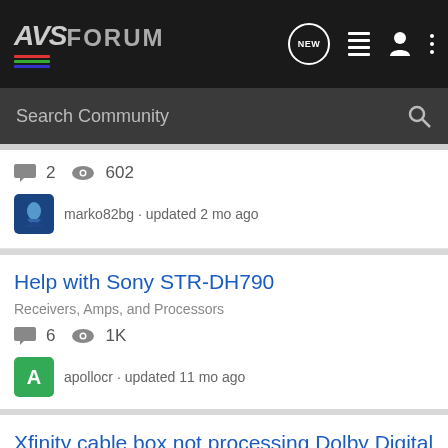AVS FORUM
Search Community
2 replies · 602 views · marko82bg · updated 2 mo ago
Help with Sony STR-DH790
Receivers, Amps, and Processors
6 replies · 1K views · apollocr · updated 11 mo ago
Xfinity cable box not processing Dolby Digital Surround audio correctly
HDTV Technical